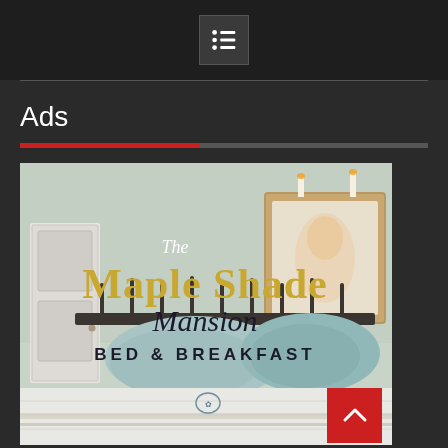Menu icon / navigation header
Ads
[Figure (photo): Advertisement photo for The Maple Shade Mansion Bed & Breakfast showing a bedroom with light blue pillows and white quilted bedding, with decorative text overlay reading 'The Maple Shade Mansion BED & BREAKFAST']